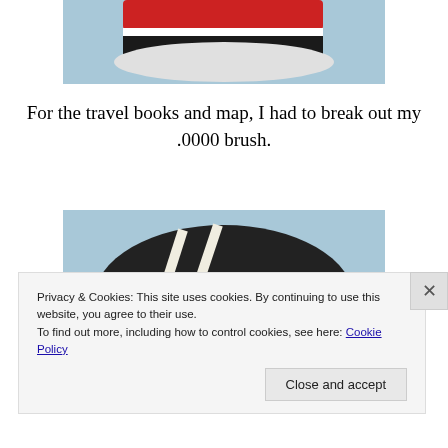[Figure (photo): Top portion of a painted shoe/sneaker cropped at top of page, shown against a light blue background]
For the travel books and map, I had to break out my .0000 brush.
[Figure (photo): Painted egg or object showing black and pink painted sections with white lines, against a light blue background]
Privacy & Cookies: This site uses cookies. By continuing to use this website, you agree to their use.
To find out more, including how to control cookies, see here: Cookie Policy
Close and accept